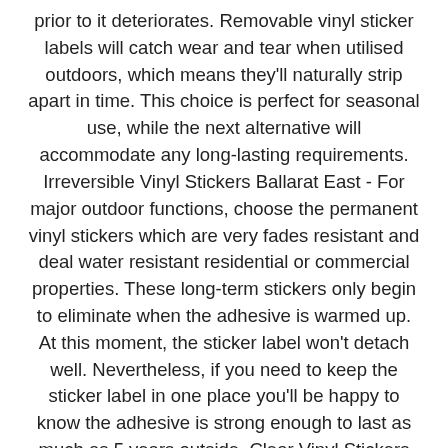prior to it deteriorates. Removable vinyl sticker labels will catch wear and tear when utilised outdoors, which means they'll naturally strip apart in time. This choice is perfect for seasonal use, while the next alternative will accommodate any long-lasting requirements. Irreversible Vinyl Stickers Ballarat East - For major outdoor functions, choose the permanent vinyl stickers which are very fades resistant and deal water resistant residential or commercial properties. These long-term stickers only begin to eliminate when the adhesive is warmed up. At this moment, the sticker label won't detach well. Nevertheless, if you need to keep the sticker label in one place you'll be happy to know the adhesive is strong enough to last as much as 5 years outside. Clear Vinyl Stickers Ballarat East - Most commonly made an application for parking licenses and other kinds of window sticker labels, the clear vinyl option serves comparable advantages to the detachable vinyl sticker labels. You can print them to be nontransparent or translucent depending upon your choices. It's up to you